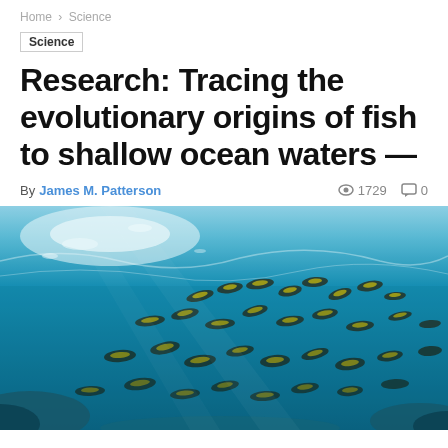Home › Science
Science
Research: Tracing the evolutionary origins of fish to shallow ocean waters —
By James M. Patterson   👁 1729   💬 0
[Figure (photo): Underwater photograph showing a school of small yellow and dark fish swimming in shallow turquoise ocean water, with sunlight filtering through from the surface above and rocks visible at the bottom.]